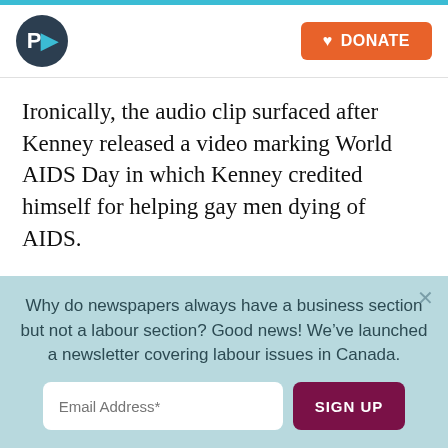P> [logo] | DONATE
Ironically, the audio clip surfaced after Kenney released a video marking World AIDS Day in which Kenney credited himself for helping gay men dying of AIDS.
“This is a disease I saw first hand volunteering at a hospice in San Francisco back in the 1980s,” Kenney told UCP supporters.
Why do newspapers always have a business section but not a labour section? Good news! We’ve launched a newsletter covering labour issues in Canada.